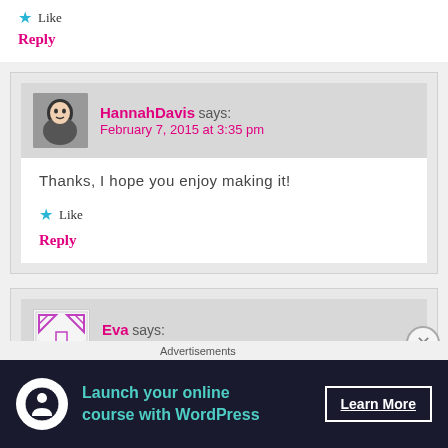★ Like
Reply
HannahDavis says:
February 7, 2015 at 3:35 pm
Thanks, I hope you enjoy making it!
★ Like
Reply
Eva says:
February 16, 2015 at 12:56 pm
Hello, this is something incredibly extraordinary. OMG, beaut
[Figure (screenshot): Advertisement banner: Launch your online course with WordPress - Learn More button]
Advertisements